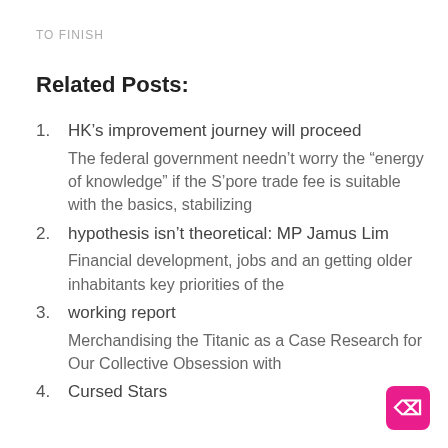TO FINISH
Related Posts:
HK’s improvement journey will proceed
The federal government needn’t worry the “energy of knowledge” if the S’pore trade fee is suitable with the basics, stabilizing
hypothesis isn’t theoretical: MP Jamus Lim
Financial development, jobs and an getting older inhabitants key priorities of the
working report
Merchandising the Titanic as a Case Research for Our Collective Obsession with
Cursed Stars